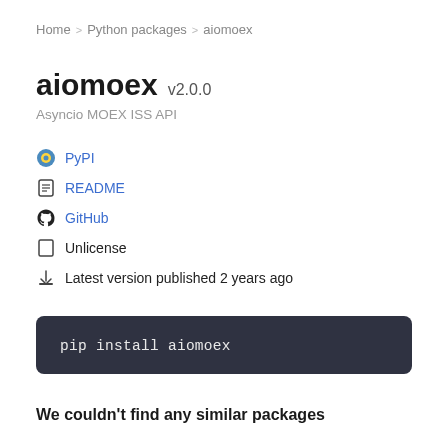Home > Python packages > aiomoex
aiomoex v2.0.0
Asyncio MOEX ISS API
PyPI
README
GitHub
Unlicense
Latest version published 2 years ago
pip install aiomoex
We couldn't find any similar packages